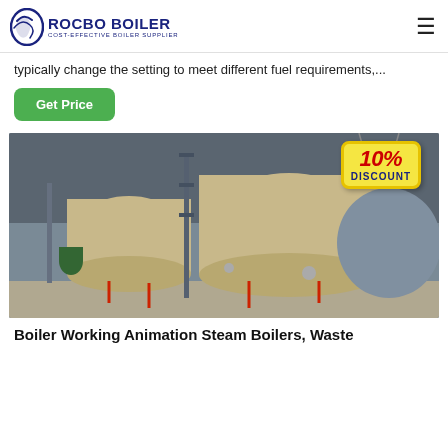ROCBO BOILER COST-EFFECTIVE BOILER SUPPLIER
typically change the setting to meet different fuel requirements,...
Get Price
[Figure (photo): Industrial boilers in a warehouse facility with a 10% DISCOUNT badge overlaid in top-right corner]
Boiler Working Animation Steam Boilers, Waste